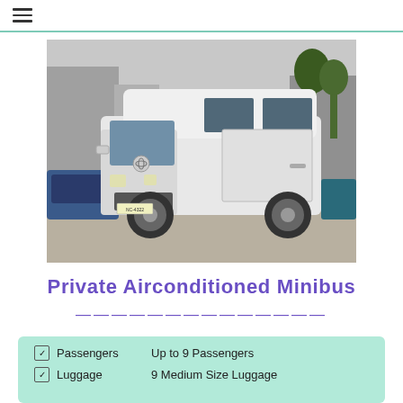≡
[Figure (photo): White Toyota HiAce high-roof minibus van parked in a lot, front three-quarter view, with license plate visible and trees in background.]
Private Airconditioned Minibus
——————————————
Passengers   Up to 9 Passengers
Luggage   9 Medium Size Luggage